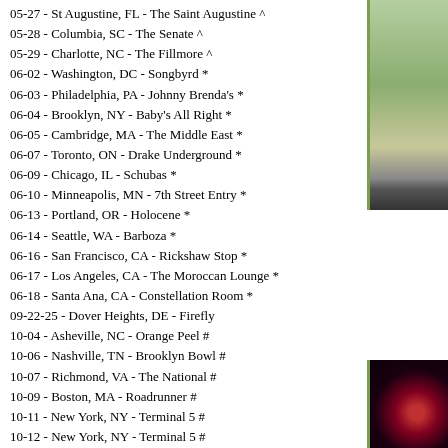05-27 - St Augustine, FL - The Saint Augustine ^
05-28 - Columbia, SC - The Senate ^
05-29 - Charlotte, NC - The Fillmore ^
06-02 - Washington, DC - Songbyrd *
06-03 - Philadelphia, PA - Johnny Brenda's *
06-04 - Brooklyn, NY - Baby's All Right *
06-05 - Cambridge, MA - The Middle East *
06-07 - Toronto, ON - Drake Underground *
06-09 - Chicago, IL - Schubas *
06-10 - Minneapolis, MN - 7th Street Entry *
06-13 - Portland, OR - Holocene *
06-14 - Seattle, WA - Barboza *
06-16 - San Francisco, CA - Rickshaw Stop *
06-17 - Los Angeles, CA - The Moroccan Lounge *
06-18 - Santa Ana, CA - Constellation Room *
09-22-25 - Dover Heights, DE - Firefly
10-04 - Asheville, NC - Orange Peel #
10-06 - Nashville, TN - Brooklyn Bowl #
10-07 - Richmond, VA - The National #
10-09 - Boston, MA - Roadrunner #
10-11 - New York, NY - Terminal 5 #
10-12 - New York, NY - Terminal 5 #
10-15 - Toronto, ON - Danforth #
10-16 - Toronto, ON - Danforth #
^ w/Wallows
* w/Harry Teardrop
# w/Remi Wolf
06/11/2022 Saturday
June 11 is the big day for Rock the Garden! We cannot wait. For those attending, here is their policy for COVID-19: “We all want to do our part to limit the spread of COVID-19 in our community and keep our patrons, staff and artists safe. In accordance with Minnesota guidelines, while we will not require proof of vaccination